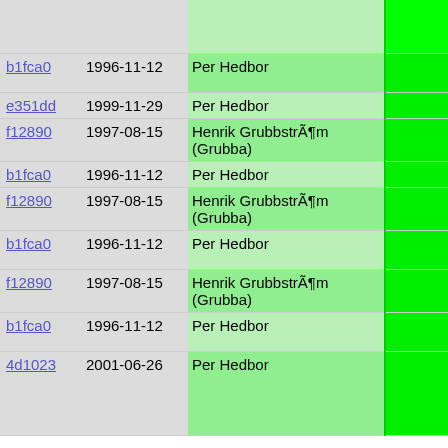| hash | date | author | code |
| --- | --- | --- | --- |
|  |  |  | #endif /*
    stri
    }); |
| b1fca0 | 1996-11-12 | Per Hedbor | for(i=
{ |
| e351dd | 1999-11-29 | Per Hedbor | arra |
| f12890 | 1997-08-15 | Henrik GrubbstrÃ¶m (Grubba) | if(d
  fo |
| b1fca0 | 1996-11-12 | Per Hedbor |  |
| f12890 | 1997-08-15 | Henrik GrubbstrÃ¶m (Grubba) | }
} |
| b1fca0 | 1996-11-12 | Per Hedbor | }
} |
| f12890 | 1997-08-15 | Henrik GrubbstrÃ¶m (Grubba) |  |
| b1fca0 | 1996-11-12 | Per Hedbor | return f
} |
| 4d1023 | 2001-06-26 | Per Hedbor | void set_u
// Used by
// the con
{
  userdb_m |